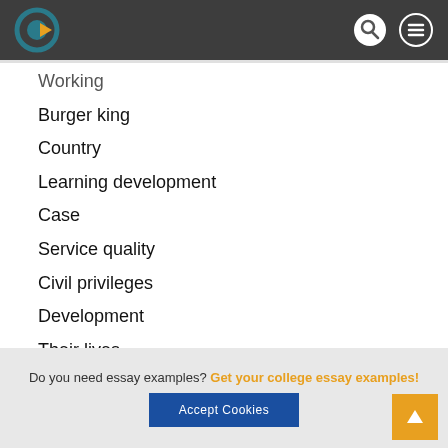[Figure (logo): Website header with logo (circular gear icon with yellow arrow), search icon, and hamburger menu icon on dark grey background]
Working
Burger king
Country
Learning development
Case
Service quality
Civil privileges
Development
Their lives
Social media
This stage
Killingilligal baby killing
Do you need essay examples? Get your college essay examples!